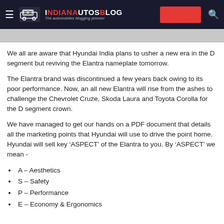IndianAutosBlog — The automobiles blogging pioneer
[Figure (photo): Gray image strip placeholder]
We all are aware that Hyundai India plans to usher a new era in the D segment but reviving the Elantra nameplate tomorrow.
The Elantra brand was discontinued a few years back owing to its poor performance. Now, an all new Elantra will rise from the ashes to challenge the Chevrolet Cruze, Skoda Laura and Toyota Corolla for the D segment crown.
We have managed to get our hands on a PDF document that details all the marketing points that Hyundai will use to drive the point home. Hyundai will sell key 'ASPECT' of the Elantra to you. By 'ASPECT' we mean -
A – Aesthetics
S – Safety
P – Performance
E – Economy & Ergonomics